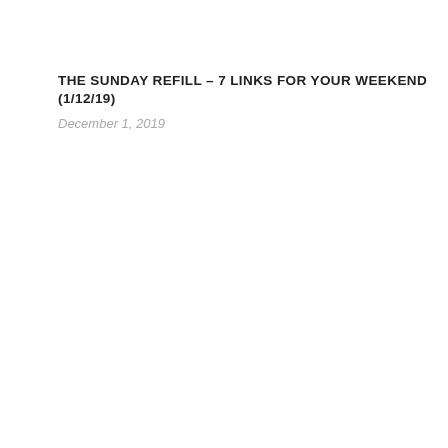THE SUNDAY REFILL – 7 LINKS FOR YOUR WEEKEND (1/12/19)
December 1, 2019